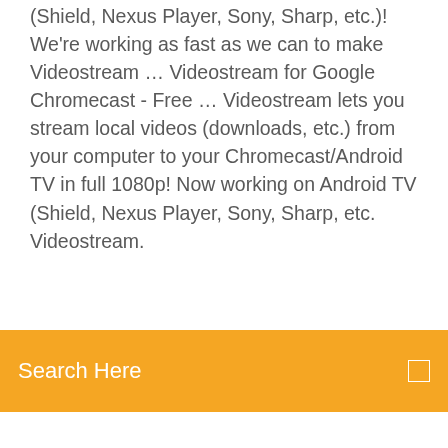(Shield, Nexus Player, Sony, Sharp, etc.)! We're working as fast as we can to make Videostream … Videostream for Google Chromecast - Free … Videostream lets you stream local videos (downloads, etc.) from your computer to your Chromecast/Android TV in full 1080p! Now working on Android TV (Shield, Nexus Player, Sony, Sharp, etc. Videostream.
[Figure (other): Orange search bar overlay with text 'Search Here' in white and a search icon on the right]
Chromecasts. I use illegal aliens to deliver me high def, high bitrate files and I use Videostream almost all the time.
Hello AVG internet security firewall block my … My netflix not working,Videostream.and Couple App not work,just Youtube work with chromecast. tell me what need to do "Allow" my Chromecast. Thank you:Zoltan. August 7, 2015 · Like; 0 · Follow ; 0; Best Answer chosen by Petr Jezek (Avast) Zbynek (Avast) Hi Zoltan, If Google Chromecast does not synchronize properly